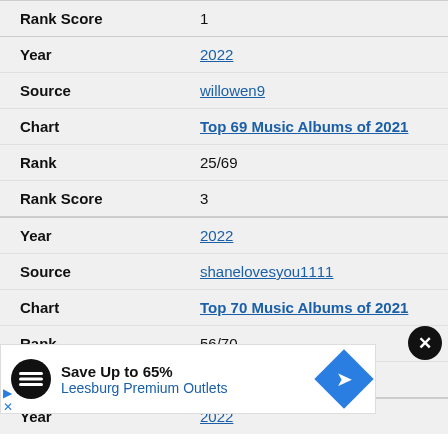| Field | Value |
| --- | --- |
| Rank Score | 1 |
| Year | 2022 |
| Source | willowen9 |
| Chart | Top 69 Music Albums of 2021 |
| Rank | 25/69 |
| Rank Score | 3 |
| Year | 2022 |
| Source | shanelovesyou1111 |
| Chart | Top 70 Music Albums of 2021 |
| Rank | 56/70 |
| Rank Score | 1 |
| Year | 2022 |
[Figure (infographic): Advertisement banner: Save Up to 65% Leesburg Premium Outlets with logo and direction sign icon]